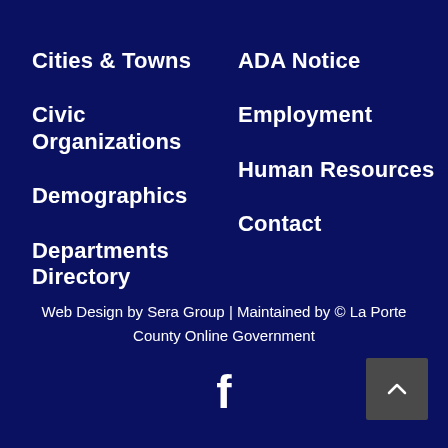Cities & Towns
Civic Organizations
Demographics
Departments Directory
ADA Notice
Employment
Human Resources
Contact
Web Design by Sera Group | Maintained by © La Porte County Online Government